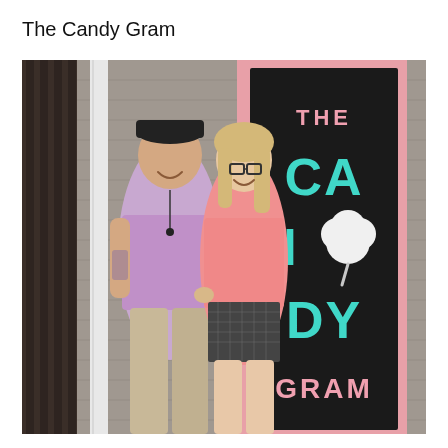The Candy Gram
[Figure (photo): Two people standing in front of a candy store entrance. The storefront has a pink door frame and a dark window/door with teal lettering reading 'THE CANDY GRAM' with a cotton candy icon replacing the 'O' in CANDY. The man on the left wears a black cap and lavender t-shirt; the woman on the right wears glasses, a pink top, and a black and white checkered skirt.]